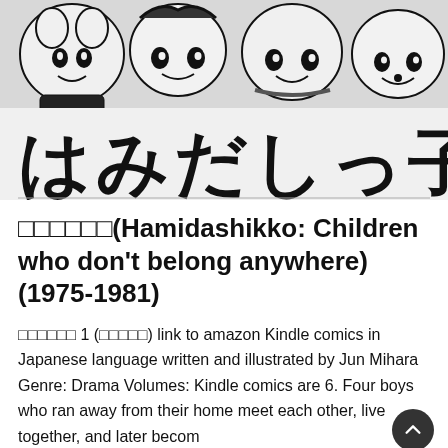[Figure (illustration): Manga cover image showing cartoon characters (boys) at the top half and large Japanese text 'はみだしっ子' at the bottom half, black and white illustration style]
□□□□□□(Hamidashikko: Children who don't belong anywhere) (1975-1981)
□□□□□□ 1 (□□□□□) link to amazon Kindle comics in Japanese language written and illustrated by Jun Mihara Genre: Drama Volumes: Kindle comics are 6. Four boys who ran away from their home meet each other, live together, and later become